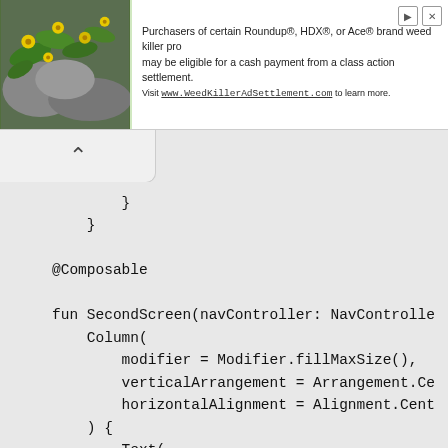[Figure (other): Advertisement banner: photo of plant with yellow flowers, text about Roundup/HDX/Ace weed killer class action settlement, link to WeedKillerAdSettlement.com]
^
}
}

@Composable

fun SecondScreen(navController: NavController
    Column(
        modifier = Modifier.fillMaxSize(),
        verticalArrangement = Arrangement.Ce
        horizontalAlignment = Alignment.Cent
    ) {
        Text(
            text = title.toString(),
            fontSize = 40.sp,
            color = Color.Magenta,